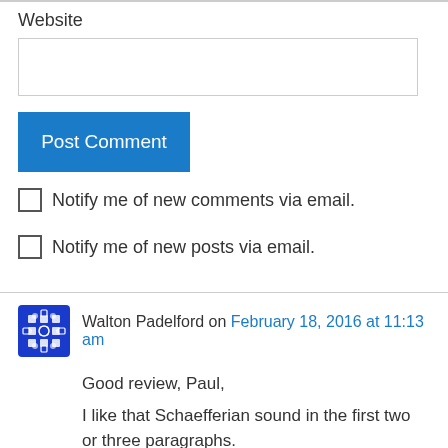Website
Post Comment
Notify me of new comments via email.
Notify me of new posts via email.
Walton Padelford on February 18, 2016 at 11:13 am
Good review, Paul,
I like that Schaefferian sound in the first two or three paragraphs.
Nazianzus